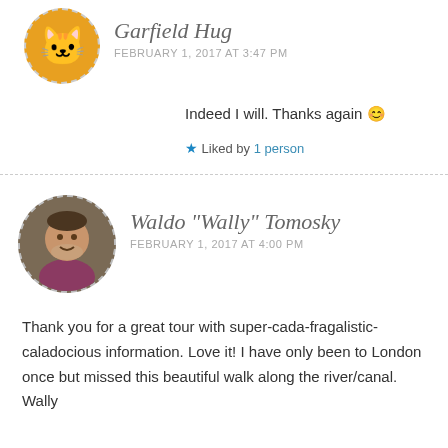Garfield Hug
FEBRUARY 1, 2017 AT 3:47 PM
Indeed I will. Thanks again 😊
★ Liked by 1 person
Waldo "Wally" Tomosky
FEBRUARY 1, 2017 AT 4:00 PM
Thank you for a great tour with super-cada-fragalistic-caladocious information. Love it! I have only been to London once but missed this beautiful walk along the river/canal.
Wally